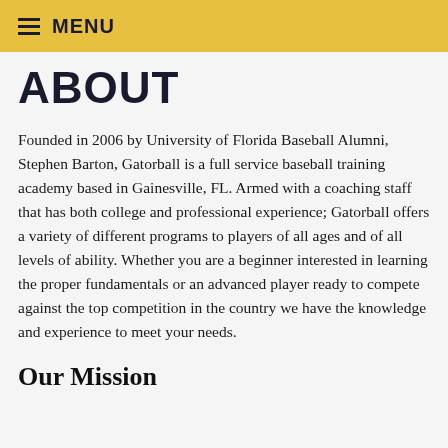≡ MENU
ABOUT
Founded in 2006 by University of Florida Baseball Alumni, Stephen Barton, Gatorball is a full service baseball training academy based in Gainesville, FL. Armed with a coaching staff that has both college and professional experience; Gatorball offers a variety of different programs to players of all ages and of all levels of ability. Whether you are a beginner interested in learning the proper fundamentals or an advanced player ready to compete against the top competition in the country we have the knowledge and experience to meet your needs.
Our Mission